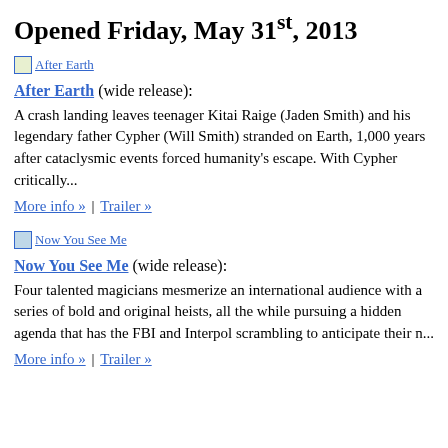Opened Friday, May 31st, 2013
[Figure (photo): Thumbnail image link for After Earth]
After Earth (wide release):
A crash landing leaves teenager Kitai Raige (Jaden Smith) and his legendary father Cypher (Will Smith) stranded on Earth, 1,000 years after cataclysmic events forced humanity's escape. With Cypher critically...
More info » | Trailer »
[Figure (photo): Thumbnail image link for Now You See Me]
Now You See Me (wide release):
Four talented magicians mesmerize an international audience with a series of bold and original heists, all the while pursuing a hidden agenda that has the FBI and Interpol scrambling to anticipate their n...
More info » | Trailer »